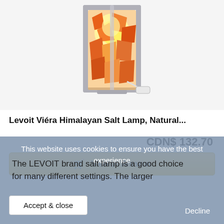[Figure (photo): Levoit Viera Himalayan Salt Lamp product photo showing a cylindrical metal frame lamp with glowing orange/amber salt crystals inside and a dimmer cord attached]
Levoit Viéra Himalayan Salt Lamp, Natural...
CDN$ 132.70
View on Amazon
This website uses cookies to ensure you have the best experience
The LEVOIT brand salt lamp is a good choice for many different settings. The larger
Accept & close
Decline